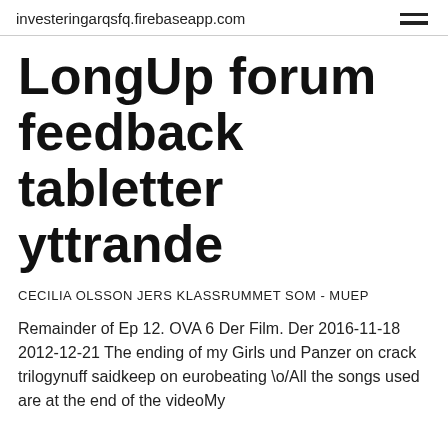investeringarqsfq.firebaseapp.com
LongUp forum feedback tabletter yttrande
CECILIA OLSSON JERS KLASSRUMMET SOM - MUEP
Remainder of Ep 12. OVA 6 Der Film. Der 2016-11-18 2012-12-21 The ending of my Girls und Panzer on crack trilogynuff saidkeep on eurobeating \o/All the songs used are at the end of the videoMy